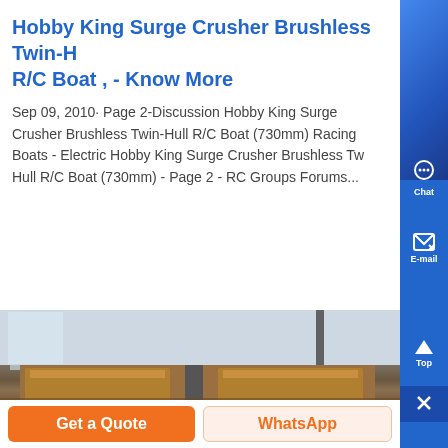Hobby King Surge Crusher Brushless Twin-H R/C Boat , - Know More
Sep 09, 2010· Page 2-Discussion Hobby King Surge Crusher Brushless Twin-Hull R/C Boat (730mm) Racing Boats - Electric Hobby King Surge Crusher Brushless Twin-Hull R/C Boat (730mm) - Page 2 - RC Groups Forums...
[Figure (photo): Photo of twin-hull RC boat viewed from above/behind, wooden hulls visible, against a light background]
Get a Quote
WhatsApp